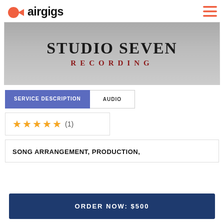airgigs
[Figure (photo): Studio Seven Recording banner image with large text STUDIO SEVEN in dark/black serif font and RECORDING in dark red spaced letters below, on a gray background]
SERVICE DESCRIPTION | AUDIO
★★★★★ (1)
SONG ARRANGEMENT, PRODUCTION,
ORDER NOW: $500